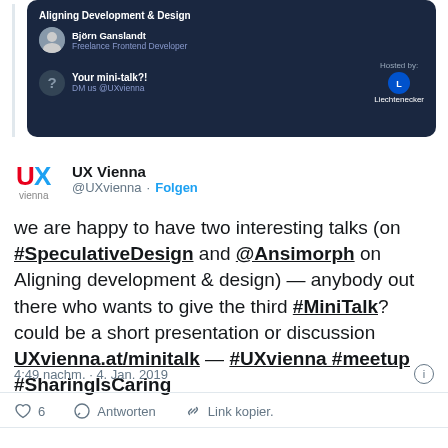[Figure (screenshot): Dark-themed event card showing 'Aligning Development & Design' talk by Björn Ganslandt, with 'Your mini-talk?!' section and Liechtenecker hosting logo]
UX Vienna @UXvienna · Folgen
we are happy to have two interesting talks (on #SpeculativeDesign and @Ansimorph on Aligning development & design) — anybody out there who wants to give the third #MiniTalk? could be a short presentation or discussion UXvienna.at/minitalk — #UXvienna #meetup #SharingIsCaring
4:49 nachm. · 4. Jan. 2019
6  Antworten  Link kopier.